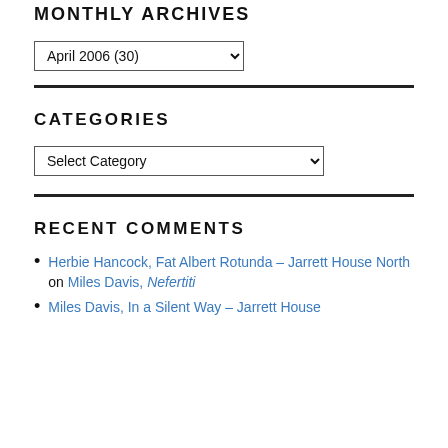MONTHLY ARCHIVES
April 2006  (30)
CATEGORIES
Select Category
RECENT COMMENTS
Herbie Hancock, Fat Albert Rotunda – Jarrett House North on Miles Davis, Nefertiti
Miles Davis, In a Silent Way – Jarrett House